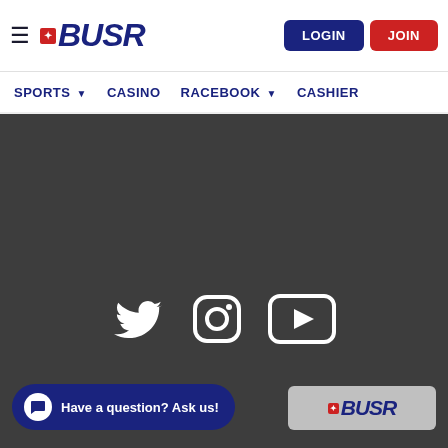BUSR - Sports, Casino, Racebook, Cashier navigation header with Login and Join buttons
[Figure (screenshot): BUSR website header with hamburger menu, BUSR logo (star icon + bold italic text), LOGIN button (dark blue), JOIN button (red)]
[Figure (screenshot): Navigation bar with items: SPORTS (dropdown), CASINO, RACEBOOK (dropdown), CASHIER]
[Figure (screenshot): Dark gray content area (background #3d3d3d) with social media icons: Twitter bird, Instagram camera, YouTube play button]
[Figure (screenshot): Chat widget at bottom left: dark blue rounded bar with chat bubble icon and text 'Have a question? Ask us!']
[Figure (screenshot): Bottom right gray strip showing BUSR logo]